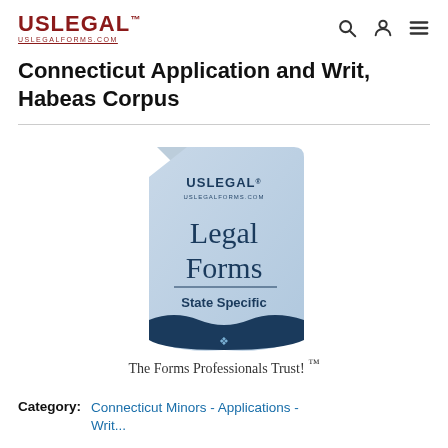USLEGAL™ uslegalforms.com
Connecticut Application and Writ, Habeas Corpus
[Figure (logo): USLegal Legal Forms State Specific product image — a document icon with blue styling, showing USLEGAL logo, 'Legal Forms' in large text, 'State Specific' below a divider, and an eagle emblem at the bottom]
The Forms Professionals Trust! ™
Category:  Connecticut Minors - Applications - Writ...